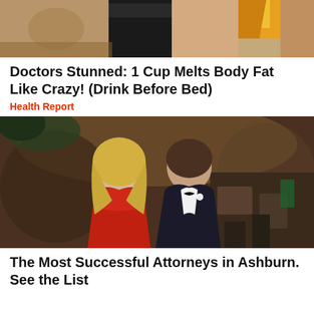[Figure (photo): Top portion of an advertisement image, partially cropped, showing dark blender or kitchen appliance with orange/yellow elements on right side]
Doctors Stunned: 1 Cup Melts Body Fat Like Crazy! (Drink Before Bed)
Health Report
[Figure (photo): A couple at a formal event. A blonde woman in a red strapless dress and a man in a dark tuxedo with bow tie and white boutonniere, standing in a banquet hall]
The Most Successful Attorneys in Ashburn. See the List